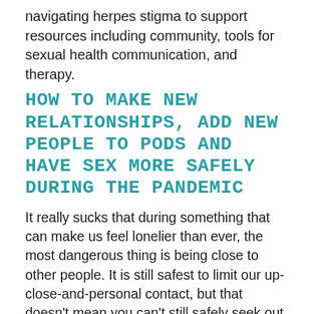navigating herpes stigma to support resources including community, tools for sexual health communication, and therapy.
HOW TO MAKE NEW RELATIONSHIPS, ADD NEW PEOPLE TO PODS AND HAVE SEX MORE SAFELY DURING THE PANDEMIC
It really sucks that during something that can make us feel lonelier than ever, the most dangerous thing is being close to other people. It is still safest to limit our up-close-and-personal contact, but that doesn't mean you can't still safely seek out and experience intimacy with new people, nor that there aren't things you can do to